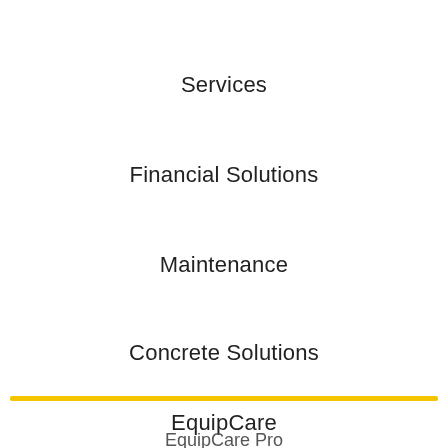Services
Financial Solutions
Maintenance
Concrete Solutions
EquipCare
EquipCare Pro